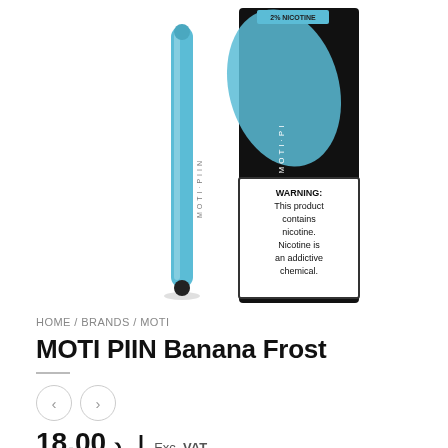[Figure (photo): MOTI PIIN vape pen in blue color shown alongside its packaging box. The pen is a slim cylindrical blue device with MOTI·PIIN text. The box shows a black and blue design with 2% nicotine labeling and a warning label reading: WARNING: This product contains nicotine. Nicotine is an addictive chemical.]
HOME / BRANDS / MOTI
MOTI PIIN Banana Frost
18.00 ل.د Exc. VAT